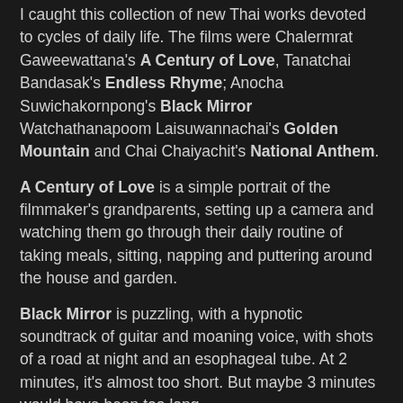I caught this collection of new Thai works devoted to cycles of daily life. The films were Chalermrat Gaweewattana's A Century of Love, Tanatchai Bandasak's Endless Rhyme; Anocha Suwichakornpong's Black Mirror Watchathanapoom Laisuwannachai's Golden Mountain and Chai Chaiyachit's National Anthem.
A Century of Love is a simple portrait of the filmmaker's grandparents, setting up a camera and watching them go through their daily routine of taking meals, sitting, napping and puttering around the house and garden.
Black Mirror is puzzling, with a hypnotic soundtrack of guitar and moaning voice, with shots of a road at night and an esophageal tube. At 2 minutes, it's almost too short. But maybe 3 minutes would have been too long.
I liked Golden Mountain, which ends awash in the sound of brass bells. I can't tell much more about it than that, except for some chicken being cut up with a cleaver.
From 2007, National Anthem is provocative -- it's silent